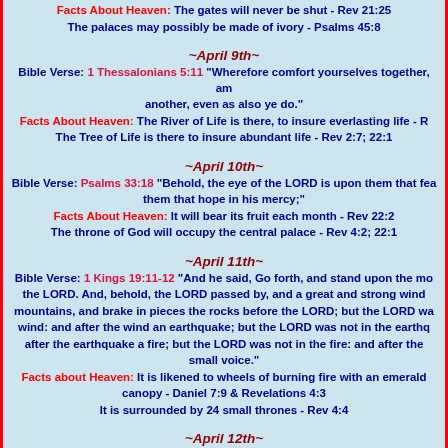Facts About Heaven: The gates will never be shut - Rev 21:25
The palaces may possibly be made of ivory - Psalms 45:8
~April 9th~
Bible Verse: 1 Thessalonians 5:11 "Wherefore comfort yourselves together, and edify one another, even as also ye do."
Facts About Heaven: The River of Life is there, to insure everlasting life - Rev 22:1
The Tree of Life is there to insure abundant life - Rev 2:7; 22:1
~April 10th~
Bible Verse: Psalms 33:18 "Behold, the eye of the LORD is upon them that fear him, upon them that hope in his mercy;"
Facts About Heaven: It will bear its fruit each month - Rev 22:2
The throne of God will occupy the central palace - Rev 4:2; 22:1
~April 11th~
Bible Verse: 1 Kings 19:11-12 "And he said, Go forth, and stand upon the mount before the LORD. And, behold, the LORD passed by, and a great and strong wind rent the mountains, and brake in pieces the rocks before the LORD; but the LORD was not in the wind: and after the wind an earthquake; but the LORD was not in the earthquake: and after the earthquake a fire; but the LORD was not in the fire: and after the fire a still small voice."
Facts about Heaven: It is likened to wheels of burning fire with an emerald canopy - Daniel 7:9 & Revelations 4:3
It is surrounded by 24 small thrones - Rev 4:4
~April 12th~
Bible Verse: Luke 24: 44-48 "And he (Jesus) said unto them, These [are] the w..."